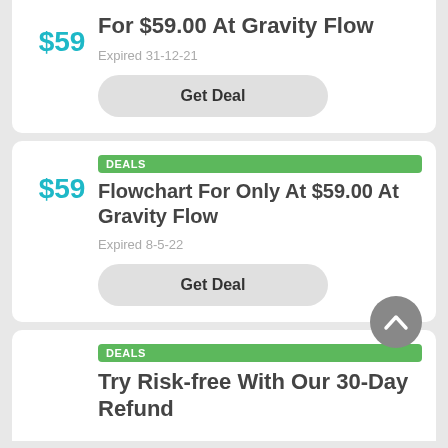$59
Form Connector For $59.00 At Gravity Flow
Expired 31-12-21
Get Deal
DEALS
$59
Flowchart For Only At $59.00 At Gravity Flow
Expired 8-5-22
Get Deal
DEALS
Try Risk-free With Our 30-Day Refund